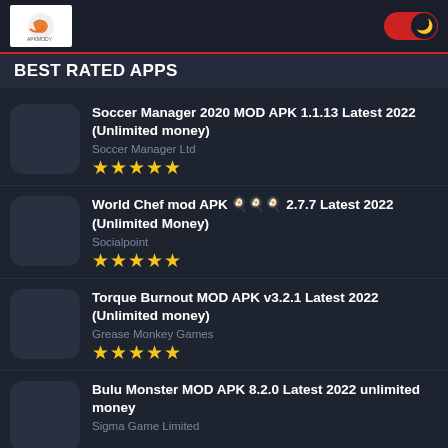APKMODY - Best Rated Apps
BEST RATED APPS
Soccer Manager 2020 MOD APK 1.1.13 Latest 2022 (Unlimited money)
Soccer Manager Ltd
★★★★★
World Chef mod APK 🍳🍳🍳 2.7.7 Latest 2022 (Unlimited Money)
Socialpoint
★★★★★
Torque Burnout MOD APK v3.2.1 Latest 2022 (Unlimited money)
Grease Monkey Games
★★★★★
Bulu Monster MOD APK 8.2.0 Latest 2022 unlimited money
Sigma Game Limited